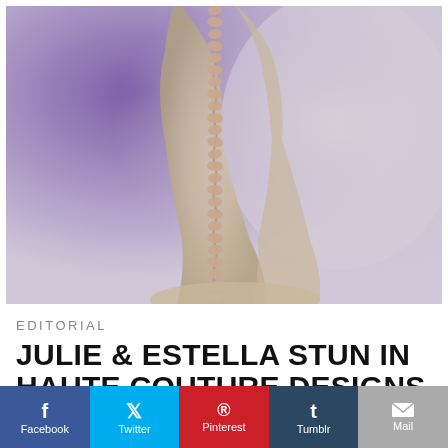[Figure (photo): Close-up fashion editorial photo of a high-heeled shoe or garment with a spine-like braided detail running vertically down the center, against a purple and grey gradient background]
EDITORIAL
JULIE & ESTELLA STUN IN HAUTE COUTURE DESIGNS